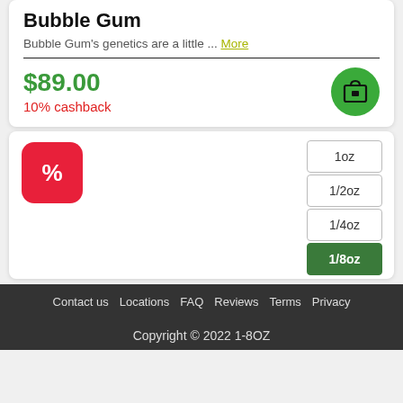Bubble Gum
Bubble Gum's genetics are a little ... More
$89.00
10% cashback
[Figure (other): Red square icon with percent sign]
1oz
1/2oz
1/4oz
1/8oz
Contact us  Locations  FAQ  Reviews  Terms  Privacy
Copyright © 2022 1-8OZ